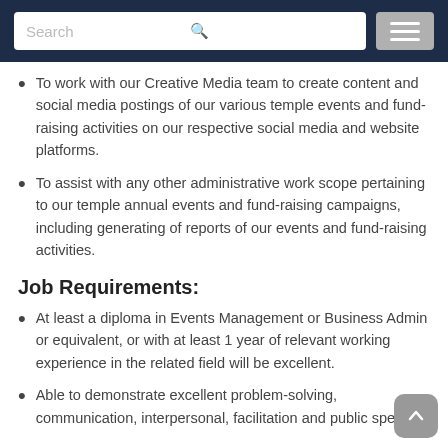Search [navigation bar with search and menu]
To work with our Creative Media team to create content and social media postings of our various temple events and fund-raising activities on our respective social media and website platforms.
To assist with any other administrative work scope pertaining to our temple annual events and fund-raising campaigns, including generating of reports of our events and fund-raising activities.
Job Requirements:
At least a diploma in Events Management or Business Admin or equivalent, or with at least 1 year of relevant working experience in the related field will be excellent.
Able to demonstrate excellent problem-solving, communication, interpersonal, facilitation and public speaking